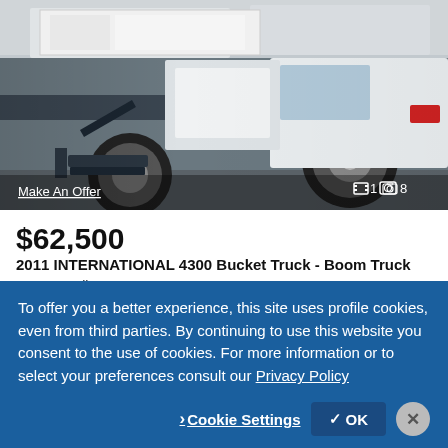[Figure (photo): Photo of a 2011 International 4300 Bucket Truck / Boom Truck, white, showing the undercarriage, front wheel, and cab from a low angle.]
Make An Offer
1  8
$62,500
2011 INTERNATIONAL 4300 Bucket Truck - Boom Truck
105,000 miles
Kenco Trucks & Equipment - Website
Harrisonburg, VA - 84 mi. away
To offer you a better experience, this site uses profile cookies, even from third parties. By continuing to use this website you consent to the use of cookies. For more information or to select your preferences consult our Privacy Policy
Cookie Settings
OK